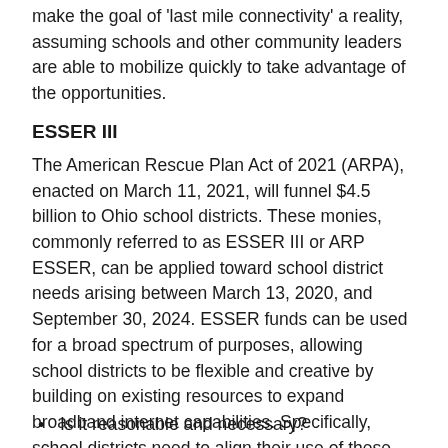make the goal of 'last mile connectivity' a reality, assuming schools and other community leaders are able to mobilize quickly to take advantage of the opportunities.
ESSER III
The American Rescue Plan Act of 2021 (ARPA), enacted on March 11, 2021, will funnel $4.5 billion to Ohio school districts. These monies, commonly referred to as ESSER III or ARP ESSER, can be applied toward school district needs arising between March 13, 2020, and September 30, 2024. ESSER funds can be used for a broad spectrum of purposes, allowing school districts to be flexible and creative by building on existing resources to expand broadband internet capabilities. Specifically, school districts need to align their use of these monies with the 15 categories of legislatively-established allowances, while considering five core questions:
Will the proposed use of funds prevent, prepare for and respond to coronavirus?
Is it an allowable use of funds under the various ESSER funds?
Is it reasonable and necessary?